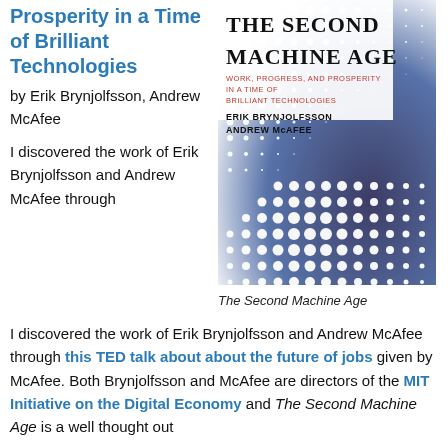Prosperity in a Time of Brilliant Technologies
by Erik Brynjolfsson, Andrew McAfee
[Figure (photo): Book cover of The Second Machine Age by Erik Brynjolfsson and Andrew McAfee. White cover with dot-matrix pattern transitioning from white to dark navy dots. Title in large bold serif font at top, subtitle in red smaller font, authors' names below.]
The Second Machine Age
I discovered the work of Erik Brynjolfsson and Andrew McAfee through this TED talk about about the future of jobs given by McAfee. Both Brynjolfsson and McAfee are directors of the MIT Initiative on the Digital Economy and The Second Machine Age is a well thought out